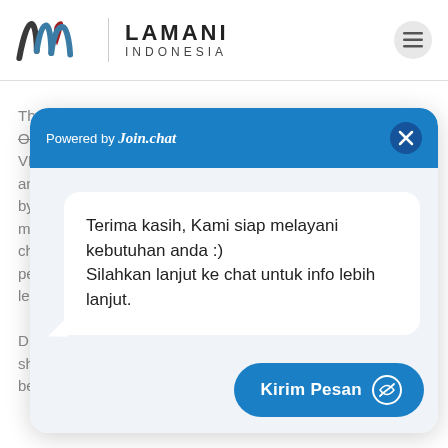[Figure (logo): Lamani Indonesia logo with stylized wave/script mark in dark gray and teal with red accent, followed by vertical divider and text LAMANI INDONESIA]
The next Harmonix name on our directory of the best Oculus Quest VR physical fitness games is Dance Central VR...
[Figure (screenshot): Join.chat popup widget with blue header showing 'Powered by Join.chat', a close X button, a chat bubble saying 'Terima kasih, Kami siap melayani kebutuhan anda :) Silahkan lanjut ke chat untuk info lebih lanjut.', and a blue 'Kirim Pesan' send button at the bottom right.]